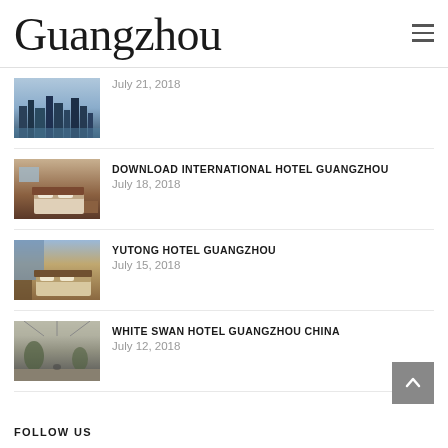Guangzhou
July 21, 2018
DOWNLOAD INTERNATIONAL HOTEL GUANGZHOU
July 18, 2018
YUTONG HOTEL GUANGZHOU
July 15, 2018
WHITE SWAN HOTEL GUANGZHOU CHINA
July 12, 2018
FOLLOW US